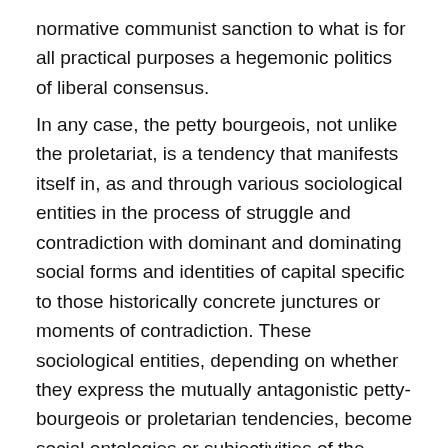normative communist sanction to what is for all practical purposes a hegemonic politics of liberal consensus.
In any case, the petty bourgeois, not unlike the proletariat, is a tendency that manifests itself in, as and through various sociological entities in the process of struggle and contradiction with dominant and dominating social forms and identities of capital specific to those historically concrete junctures or moments of contradiction. These sociological entities, depending on whether they express the mutually antagonistic petty-bourgeois or proletarian tendencies, become social ontologies or subjectivities of the petty-bourgeoisie or the proletariat in the junctural and conjunctural specificity of contradictions. We would, however, do well to realise that while the two mutually antagonistic tendencies can be grasped only in and as